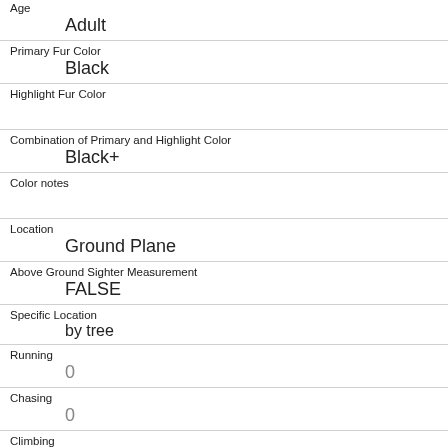| Field | Value |
| --- | --- |
| Age | Adult |
| Primary Fur Color | Black |
| Highlight Fur Color |  |
| Combination of Primary and Highlight Color | Black+ |
| Color notes |  |
| Location | Ground Plane |
| Above Ground Sighter Measurement | FALSE |
| Specific Location | by tree |
| Running | 0 |
| Chasing | 0 |
| Climbing |  |